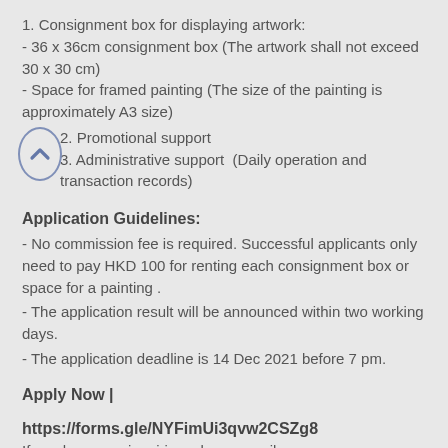1. Consignment box for displaying artwork:
- 36 x 36cm consignment box (The artwork shall not exceed 30 x 30 cm)
- Space for framed painting (The size of the painting is approximately A3 size)
2. Promotional support
3. Administrative support  (Daily operation and transaction records)
Application Guidelines:
- No commission fee is required. Successful applicants only need to pay HKD 100 for renting each consignment box or space for a painting .
- The application result will be announced within two working days.
- The application deadline is 14 Dec 2021 before 7 pm.
Apply Now | https://forms.gle/NYFimUi3qvw2CSZg8
If you have any inquiries, please email